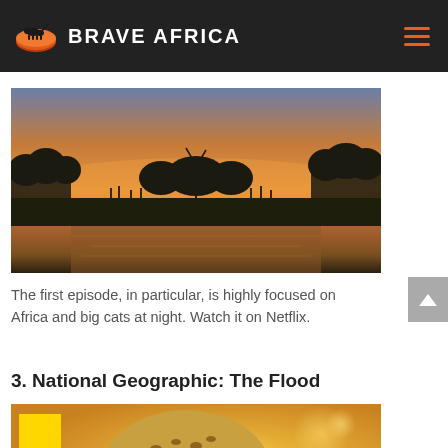BRAVE AFRICA
[Figure (photo): Sunset over an African wetland with silhouetted grasses and trees reflected in still water, warm orange and pink sky]
The first episode, in particular, is highly focused on Africa and big cats at night. Watch it on Netflix.
3. National Geographic: The Flood
[Figure (photo): Close-up of a leopard's head with golden bokeh background, National Geographic yellow banner in corner]